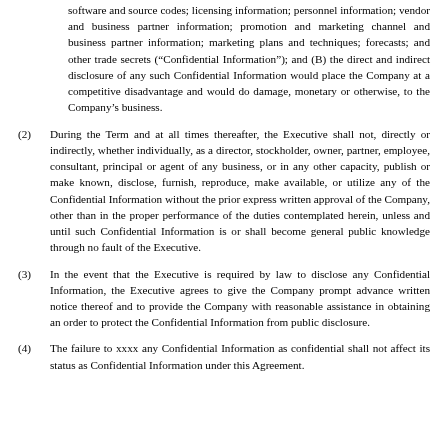software and source codes; licensing information; personnel information; vendor and business partner information; promotion and marketing channel and business partner information; marketing plans and techniques; forecasts; and other trade secrets (“Confidential Information”); and (B) the direct and indirect disclosure of any such Confidential Information would place the Company at a competitive disadvantage and would do damage, monetary or otherwise, to the Company’s business.
(2) During the Term and at all times thereafter, the Executive shall not, directly or indirectly, whether individually, as a director, stockholder, owner, partner, employee, consultant, principal or agent of any business, or in any other capacity, publish or make known, disclose, furnish, reproduce, make available, or utilize any of the Confidential Information without the prior express written approval of the Company, other than in the proper performance of the duties contemplated herein, unless and until such Confidential Information is or shall become general public knowledge through no fault of the Executive.
(3) In the event that the Executive is required by law to disclose any Confidential Information, the Executive agrees to give the Company prompt advance written notice thereof and to provide the Company with reasonable assistance in obtaining an order to protect the Confidential Information from public disclosure.
(4) The failure to xxxx any Confidential Information as confidential shall not affect its status as Confidential Information under this Agreement.